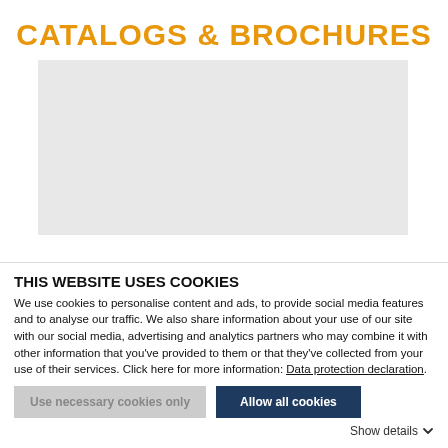CATALOGS & BROCHURES
[Figure (other): Light gray rectangular placeholder image for a catalog or brochure visual]
THIS WEBSITE USES COOKIES
We use cookies to personalise content and ads, to provide social media features and to analyse our traffic. We also share information about your use of our site with our social media, advertising and analytics partners who may combine it with other information that you've provided to them or that they've collected from your use of their services. Click here for more information: Data protection declaration.
Use necessary cookies only
Allow all cookies
Show details